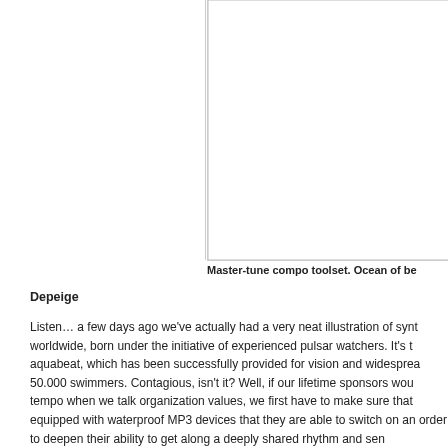[Figure (other): White rectangular image area on the right column, no visible content]
Master-tune compo toolset. Ocean of be
Depeige
Listen… a few days ago we've actually had a very neat illustration of synt worldwide, born under the initiative of experienced pulsar watchers. It's t aquabeat, which has been successfully provided for vision and widesprea 50.000 swimmers. Contagious, isn't it? Well, if our lifetime sponsors wou tempo when we talk organization values, we first have to make sure that equipped with waterproof MP3 devices that they are able to switch on an order to deepen their ability to get along a deeply shared rhythm and sen